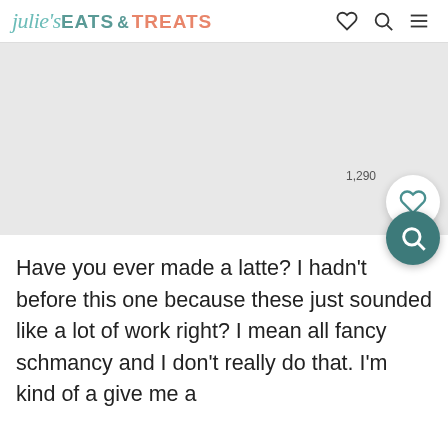julie's EATS & TREATS
[Figure (photo): Light gray placeholder image area with a like count of 1,290, a white circular heart/save button, and a teal circular search button overlaid at the bottom right.]
Have you ever made a latte? I hadn't before this one because these just sounded like a lot of work right? I mean all fancy schmancy and I don't really do that. I'm kind of a give me a